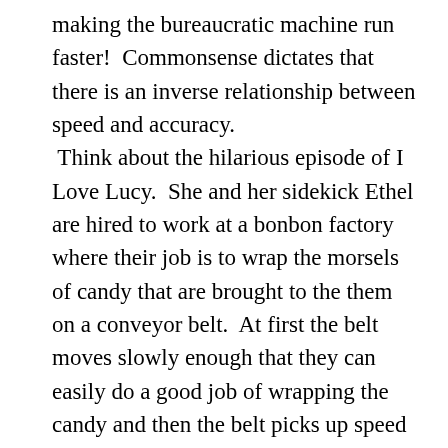making the bureaucratic machine run faster!  Commonsense dictates that there is an inverse relationship between speed and accuracy.  Think about the hilarious episode of I Love Lucy.  She and her sidekick Ethel are hired to work at a bonbon factory where their job is to wrap the morsels of candy that are brought to the them on a conveyor belt.  At first the belt moves slowly enough that they can easily do a good job of wrapping the candy and then the belt picks up speed until the candy hurtles at them at “warp” speed.  They become unable to keep up with the candy that is delivered to them and to not wind up letting any candy get past them without wrapping it, they begin eating the candy and stuffing it down their